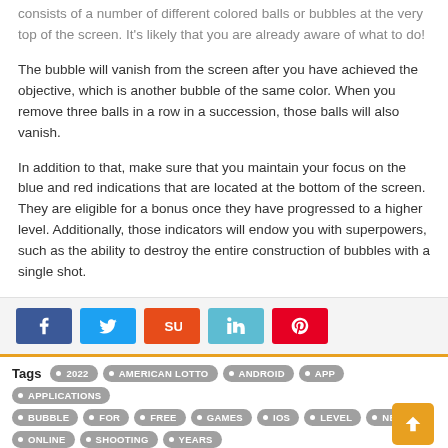consists of a number of different colored balls or bubbles at the very top of the screen. It's likely that you are already aware of what to do!
The bubble will vanish from the screen after you have achieved the objective, which is another bubble of the same color. When you remove three balls in a row in a succession, those balls will also vanish.
In addition to that, make sure that you maintain your focus on the blue and red indications that are located at the bottom of the screen. They are eligible for a bonus once they have progressed to a higher level. Additionally, those indicators will endow you with superpowers, such as the ability to destroy the entire construction of bubbles with a single shot.
[Figure (infographic): Social share buttons: Facebook (blue), Twitter (light blue), StumbleUpon (orange-red), LinkedIn (light blue), Pinterest (red)]
Tags: 2022, AMERICAN LOTTO, ANDROID, APP, APPLICATIONS, BUBBLE, FOR, FREE, GAMES, IOS, LEVEL, NEWS, ONLINE, SHOOTING, YEARS